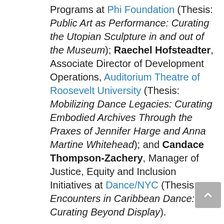Programs at Phi Foundation (Thesis: Public Art as Performance: Curating the Utopian Sculpture in and out of the Museum); Raechel Hofsteadter, Associate Director of Development Operations, Auditorium Theatre of Roosevelt University (Thesis: Mobilizing Dance Legacies: Curating Embodied Archives Through the Praxes of Jennifer Harge and Anna Martine Whitehead); and Candace Thompson-Zachery, Manager of Justice, Equity and Inclusion Initiatives at Dance/NYC (Thesis: Encounters in Caribbean Dance: Curating Beyond Display).
Thank you for your inspiring work, which opens rich and urgent avenues for performance curation across